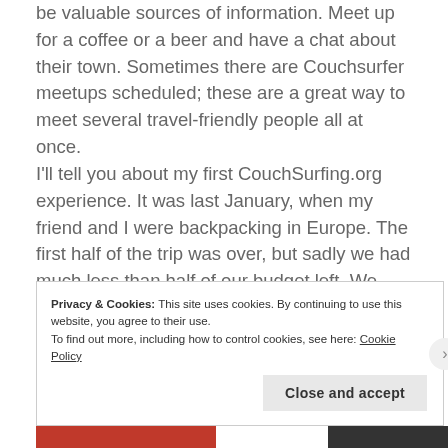be valuable sources of information. Meet up for a coffee or a beer and have a chat about their town. Sometimes there are Couchsurfer meetups scheduled; these are a great way to meet several travel-friendly people all at once.

I'll tell you about my first CouchSurfing.org experience. It was last January, when my friend and I were backpacking in Europe. The first half of the trip was over, but sadly we had much less than half of our budget left. We decided to try something new for the next country we went to: Denmark. So we logged-on to CouchSurfing.org and checked out a
Privacy & Cookies: This site uses cookies. By continuing to use this website, you agree to their use.
To find out more, including how to control cookies, see here: Cookie Policy
Close and accept